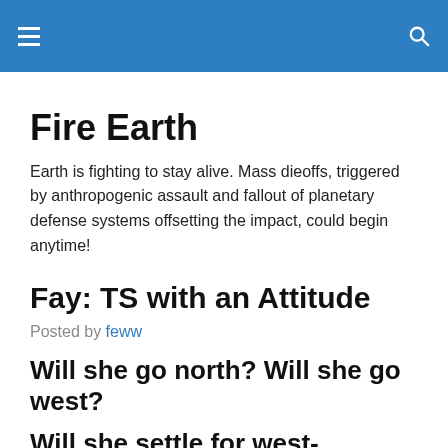Fire Earth [navigation bar with hamburger menu and search icon]
Fire Earth
Earth is fighting to stay alive. Mass dieoffs, triggered by anthropogenic assault and fallout of planetary defense systems offsetting the impact, could begin anytime!
Fay: TS with an Attitude
Posted by feww
Will she go north? Will she go west?
Will she settle for west-northwest?